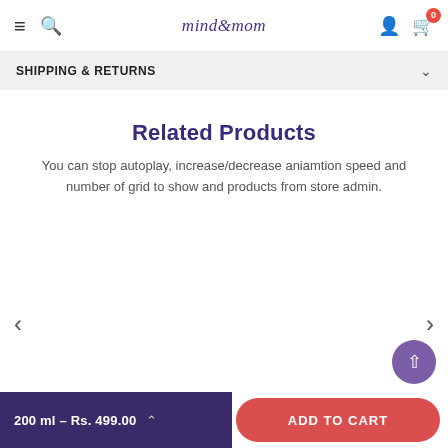mind&mom — navigation bar with hamburger, search, account, cart (0)
SHIPPING & RETURNS
Related Products
You can stop autoplay, increase/decrease aniamtion speed and number of grid to show and products from store admin.
200 ml – Rs. 499.00  |  ADD TO CART